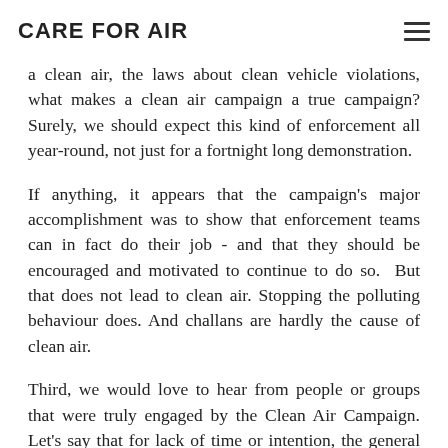CARE FOR AIR
a clean air, the laws about clean vehicle violations, what makes a clean air campaign a true campaign? Surely, we should expect this kind of enforcement all year-round, not just for a fortnight long demonstration.
If anything, it appears that the campaign's major accomplishment was to show that enforcement teams can in fact do their job - and that they should be encouraged and motivated to continue to do so. But that does not lead to clean air. Stopping the polluting behaviour does. And challans are hardly the cause of clean air.
Third, we would love to hear from people or groups that were truly engaged by the Clean Air Campaign. Let's say that for lack of time or intention, the general public was not the intended target for this campaign. How about some public testimonials from